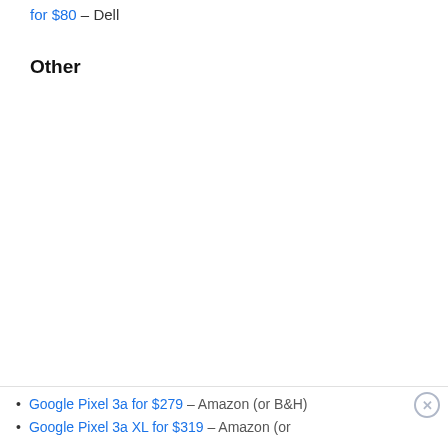for $80 – Dell
Other
Google Pixel 3a for $279 – Amazon (or B&H)
Google Pixel 3a XL for $319 – Amazon (or